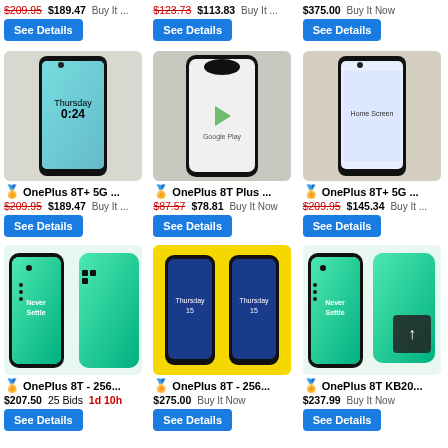$209.95 $189.47 Buy It ... See Details
$123.73 $113.83 Buy It ... See Details
$375.00 Buy It Now See Details
[Figure (photo): OnePlus 8T+ 5G smartphone front view showing lock screen with Thursday 0:24]
OnePlus 8T+ 5G ... $209.95 $189.47 Buy It ... See Details
[Figure (photo): OnePlus 8T Plus smartphone front view showing Google Play screen]
OnePlus 8T Plus ... $87.57 $78.81 Buy It Now See Details
[Figure (photo): OnePlus 8T+ 5G smartphone front view showing home screen]
OnePlus 8T+ 5G ... $209.95 $145.34 Buy It ... See Details
[Figure (photo): OnePlus 8T 256GB aqua green front and back view, Never Settle branding]
OnePlus 8T - 256... $207.50 25 Bids 1d 10h See Details
[Figure (photo): OnePlus 8T 256GB two phones on yellow background showing Thursday 15]
OnePlus 8T - 256... $275.00 Buy It Now See Details
[Figure (photo): OnePlus 8T KB20 aqua green front and back view, Never Settle branding]
OnePlus 8T KB20... $237.99 Buy It Now See Details